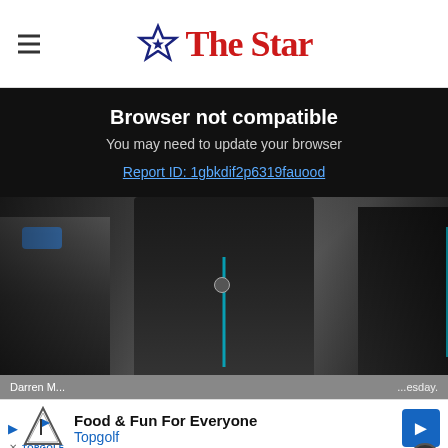The Star
Browser not compatible
You may need to update your browser
Report ID: 1gbkdif2p6319fauood
[Figure (photo): A football manager or coach wearing a black padded jacket with teal accents and club badge, standing with others in a crowd. A person wearing a blue face mask is visible on the left.]
Darren M... ...esday.
Food & Fun For Everyone
Topgolf
50% off an annual sports digital subscription  Subscribe